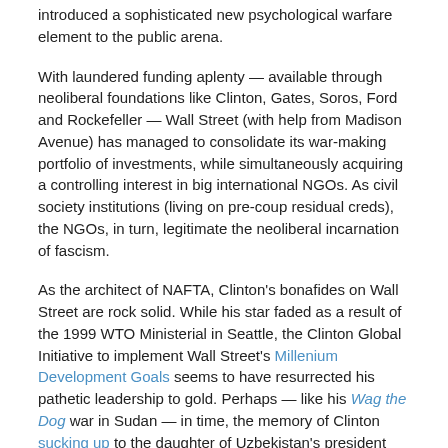introduced a sophisticated new psychological warfare element to the public arena.
With laundered funding aplenty — available through neoliberal foundations like Clinton, Gates, Soros, Ford and Rockefeller — Wall Street (with help from Madison Avenue) has managed to consolidate its war-making portfolio of investments, while simultaneously acquiring a controlling interest in big international NGOs. As civil society institutions (living on pre-coup residual creds), the NGOs, in turn, legitimate the neoliberal incarnation of fascism.
As the architect of NAFTA, Clinton's bonafides on Wall Street are rock solid. While his star faded as a result of the 1999 WTO Ministerial in Seattle, the Clinton Global Initiative to implement Wall Street's Millenium Development Goals seems to have resurrected his pathetic leadership to gold. Perhaps — like his Wag the Dog war in Sudan — in time, the memory of Clinton sucking up to the daughter of Uzbekistan's president (known for boiling his political opponents alive) in order to finance his foundation (on proceeds from slave labor) will be forgotten.
[Jay Taber is an associate scholar of the Center for World Indigenous Studies, a correspondent to Fourth World Eye, and a contributing